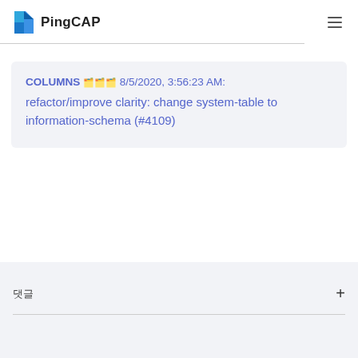PingCAP
COLUMNS 🗂️ 8/5/2020, 3:56:23 AM: refactor/improve clarity: change system-table to information-schema (#4109)
댓글 +